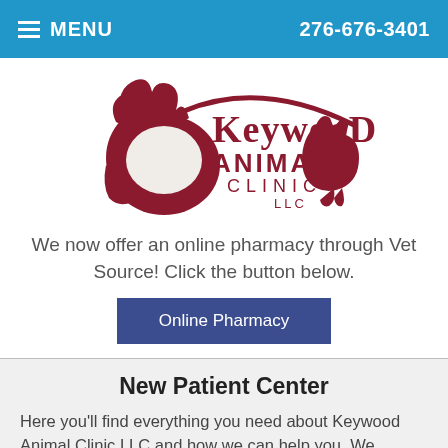≡ MENU   276-676-3401
[Figure (logo): Keywood Animal Clinic LLC logo with horse and cat silhouette in dark red/maroon color]
We now offer an online pharmacy through Vet Source! Click the button below.
Online Pharmacy
New Patient Center
Here you'll find everything you need about Keywood Animal Clinic LLC and how we can help you. We